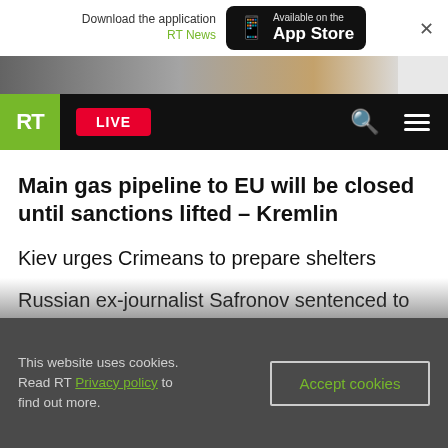Download the application RT News — Available on the App Store
[Figure (screenshot): RT news website navigation bar with RT logo, LIVE button, search and menu icons on black background]
Main gas pipeline to EU will be closed until sanctions lifted – Kremlin
Kiev urges Crimeans to prepare shelters
Russian ex-journalist Safronov sentenced to 22 years for treason
Liz Truss won't have it easy as the UK's new prime minister  OP-ED
This website uses cookies. Read RT Privacy policy to find out more.  Accept cookies